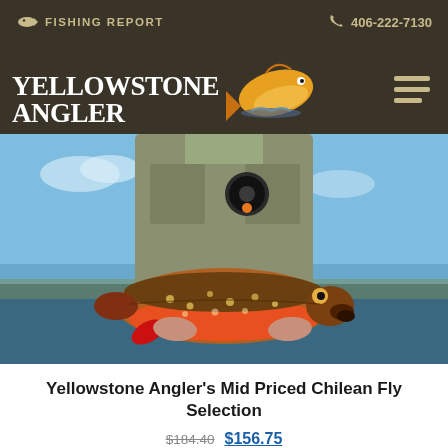🐟 FISHING REPORT   📞 406-222-7130
[Figure (logo): Yellowstone Angler logo with stylized fish and text]
[Figure (photo): Angler in fishing vest holding a large brook trout with colorful orange and red markings, outdoors near water with blue sky background]
Yellowstone Angler's Mid Priced Chilean Fly Selection
$184.40  $156.75